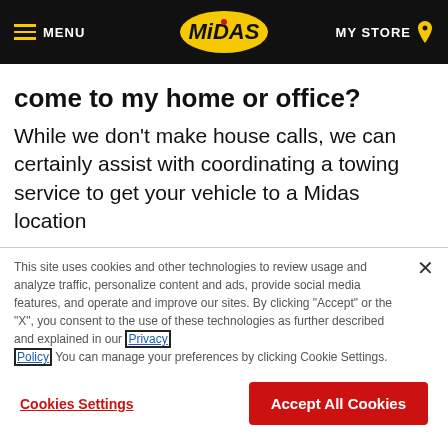MENU | MIDAS | MY STORE
come to my home or office?
While we don't make house calls, we can certainly assist with coordinating a towing service to get your vehicle to a Midas location
This site uses cookies and other technologies to review usage and analyze traffic, personalize content and ads, provide social media features, and operate and improve our sites. By clicking "Accept" or the "X", you consent to the use of these technologies as further described and explained in our Privacy Policy. You can manage your preferences by clicking Cookie Settings.
Cookies Settings | Accept All Cookies